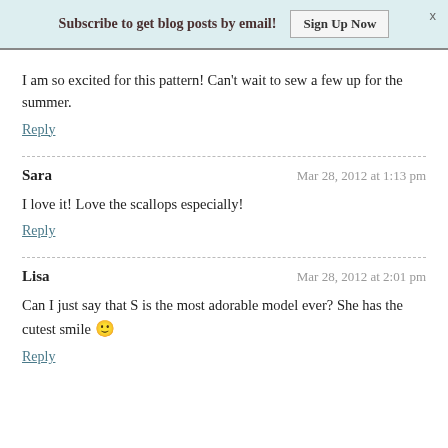Subscribe to get blog posts by email! Sign Up Now
I am so excited for this pattern! Can't wait to sew a few up for the summer.
Reply
Sara — Mar 28, 2012 at 1:13 pm
I love it! Love the scallops especially!
Reply
Lisa — Mar 28, 2012 at 2:01 pm
Can I just say that S is the most adorable model ever? She has the cutest smile 🙂
Reply